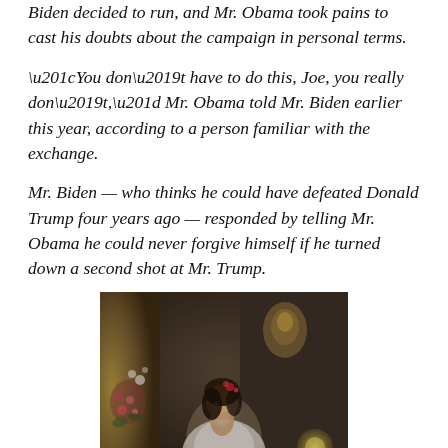Biden decided to run, and Mr. Obama took pains to cast his doubts about the campaign in personal terms.
“You don’t have to do this, Joe, you really don’t,” Mr. Obama told Mr. Biden earlier this year, according to a person familiar with the exchange.
Mr. Biden — who thinks he could have defeated Donald Trump four years ago — responded by telling Mr. Obama he could never forgive himself if he turned down a second shot at Mr. Trump.
[Figure (photo): A classical painting depicting a woman with dark hair adorned with flowers, wearing a white dress, seated in an ornate interior with golden decorative elements and flowers, reading or looking down.]